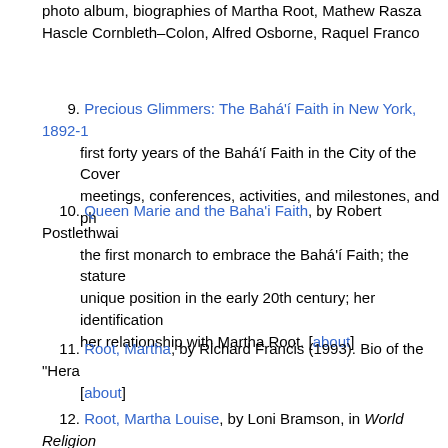photo album, biographies of Martha Root, Mathew Rasza Hascle Cornbleth–Colon, Alfred Osborne, Raquel Franco
9. Precious Glimmers: The Bahá'í Faith in New York, 1892-1... first forty years of the Bahá'í Faith in the City of the Cover meetings, conferences, activities, and milestones, and ph
10. Queen Marie and the Baha'i Faith, by Robert Postlethwai... the first monarch to embrace the Bahá'í Faith; the stature unique position in the early 20th century; her identification her relationship with Martha Root. [about]
11. Root, Martha, by Richard Francis (1993). Bio of the "Hera [about]
12. Root, Martha Louise, by Loni Bramson, in World Religion...
13. Shoghi Effendi in Oxford, by Riaz Khadem, and Her Etern Bahá'í Faith, by Della Marcus: Reviews, by Lil Osborn, in
14. Tahirih and Women's Suffrage, by Universal House of Jus letters on Táhirih's association with women's suffrage, an as soon as you like, but you cannot stop the emancipation